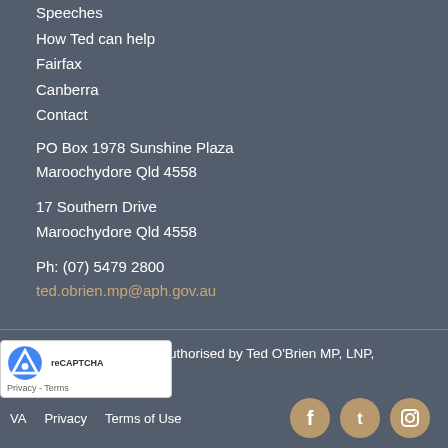Speeches
How Ted can help
Fairfax
Canberra
Contact
PO Box 1978 Sunshine Plaza
Maroochydore Qld 4558

17 Southern Drive
Maroochydore Qld 4558

Ph: (07) 5479 2800
ted.obrien.mp@aph.gov.au
© 2022 Ted O'Brien. Authorised by Ted O'Brien MP, LNP, Maroochydore, Qld.
VA   Privacy   Terms of Use
[Figure (other): Social media icons: Facebook, Twitter, Instagram in tan/gold circular buttons]
[Figure (other): reCAPTCHA badge with Privacy and Terms links]